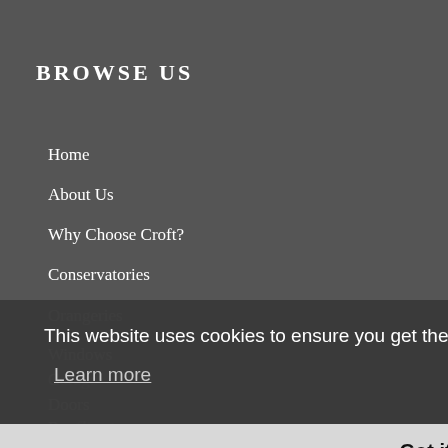BROWSE US
Home
About Us
Why Choose Croft?
Conservatories
Orangeries
Windows
Garage
Doors
Roofline
Croft Pods
Gallery
Testimonials
This website uses cookies to ensure you get the best experience on our website.
Learn more
Got it!